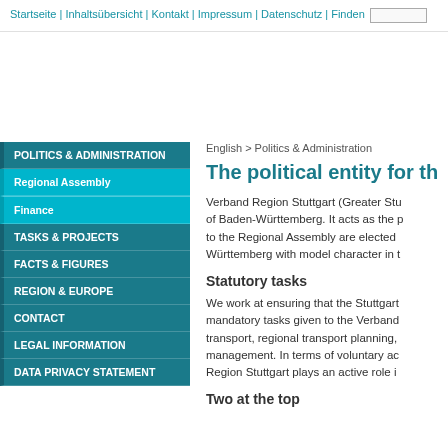Startseite | Inhaltsübersicht | Kontakt | Impressum | Datenschutz | Finden
POLITICS & ADMINISTRATION
Regional Assembly
Finance
TASKS & PROJECTS
FACTS & FIGURES
REGION & EUROPE
CONTACT
LEGAL INFORMATION
DATA PRIVACY STATEMENT
English > Politics & Administration
The political entity for th
Verband Region Stuttgart (Greater Stu of Baden-Württemberg. It acts as the p to the Regional Assembly are elected Württemberg with model character in t
Statutory tasks
We work at ensuring that the Stuttgart mandatory tasks given to the Verband transport, regional transport planning, management. In terms of voluntary ac Region Stuttgart plays an active role i
Two at the top